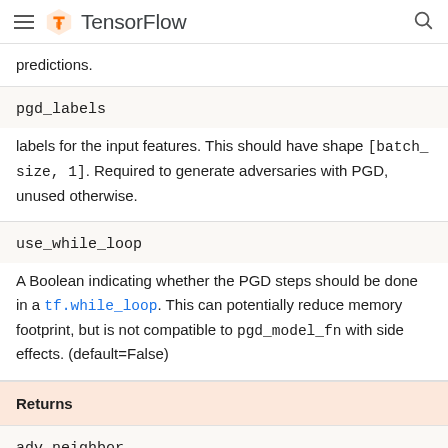TensorFlow
predictions.
| pgd_labels |  |
| --- | --- |
| pgd_labels | labels for the input features. This should have shape [batch_size, 1]. Required to generate adversaries with PGD, unused otherwise. |
| use_while_loop |  |
| --- | --- |
| use_while_loop | A Boolean indicating whether the PGD steps should be done in a tf.while_loop. This can potentially reduce memory footprint, but is not compatible to pgd_model_fn with side effects. (default=False) |
Returns
| adv_neighbor |  |
| --- | --- |
| adv_neighbor | The perturbed example, with the same shape and structure as |